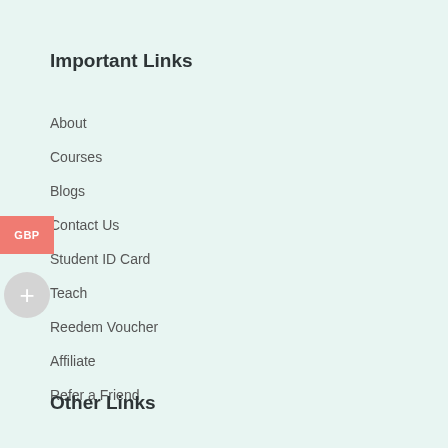Important Links
About
Courses
Blogs
Contact Us
Student ID Card
Teach
Reedem Voucher
Affiliate
Refer a Friend
Other Links